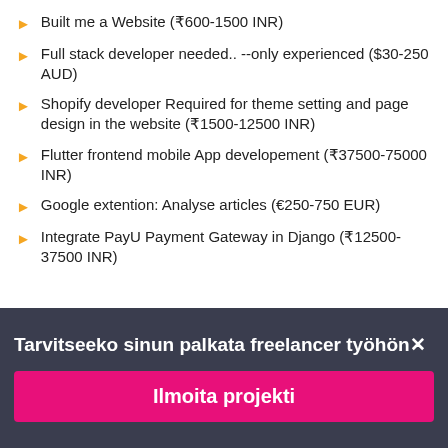Built me a Website (₹600-1500 INR)
Full stack developer needed.. --only experienced ($30-250 AUD)
Shopify developer Required for theme setting and page design in the website (₹1500-12500 INR)
Flutter frontend mobile App developement (₹37500-75000 INR)
Google extention: Analyse articles (€250-750 EUR)
Integrate PayU Payment Gateway in Django (₹12500-37500 INR)
Tarvitseeko sinun palkata freelancer työhön✕
Ilmoita projekti